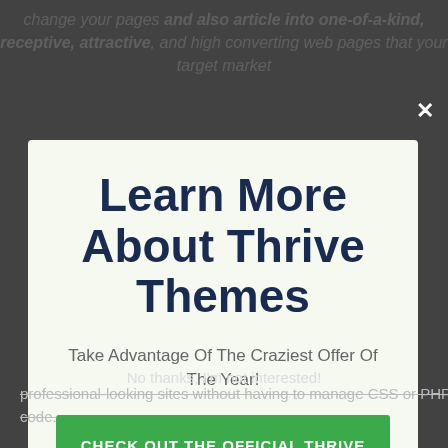change your pages and also article into one-of-a-kind, receptive, attractive, and high converting web pages that your target market
Learn More About Thrive Themes
Take Advantage Of The Craziest Offer Of The Year!
CHECK OUT THE OFFICIAL THRIVE SITE HERE
professional-looking sites without having to manage CSS or PHP code.
No thanks, I'm not interested!